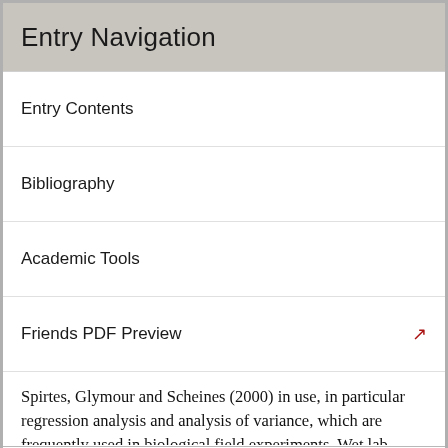Entry Navigation
Entry Contents
Bibliography
Academic Tools
Friends PDF Preview
Author and Citation Info
Spirtes, Glymour and Scheines (2000) in use, in particular regression analysis and analysis of variance, which are frequently used in biological field experiments. Wet lab experiments, by contrast, rarely require such techniques.
Some enthusiasts of causal inference methods believe that a sophisticated version of Mill's methods (and their statistical counterparts) are basically all that is needed in order to account for experimental practice (e.g., Graßhoff 2011). An attraction of this view is that it can be construed essentially as requiring only deduction and no cumbersome inductive methods.